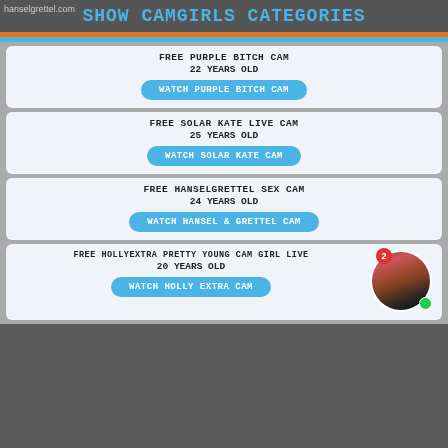hanselgrettel.com
SHOW CAMGIRLS CATEGORIES
FREE PURPLE BITCH CAM
22 YEARS OLD
WATCH PURPLE BITCH CAM
FREE SOLAR KATE LIVE CAM
25 YEARS OLD
WATCH SOLAR KATE CAM
FREE HANSELGRETTEL SEX CAM
24 YEARS OLD
WATCH HANSEL & GRETTEL CAM
FREE HOLLYEXTRA PRETTY YOUNG CAM GIRL LIVE
20 YEARS OLD
WATCH HOLLY EXTRA CAM
[Figure (photo): Circular avatar thumbnail of a cam girl with red badge showing 2 and green online indicator dot]